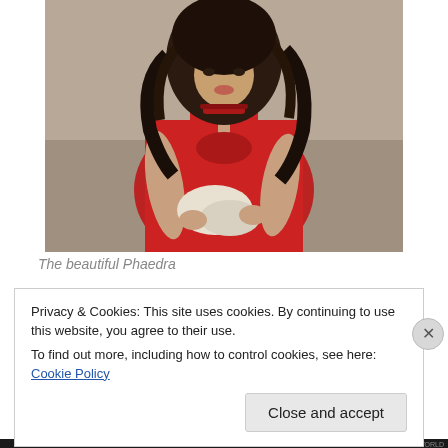[Figure (photo): A woman in a red sleeveless dress with curly dark hair, holding a white cloth bundle, photographed indoors.]
The beautiful Phaedra
Privacy & Cookies: This site uses cookies. By continuing to use this website, you agree to their use.
To find out more, including how to control cookies, see here: Cookie Policy
Close and accept